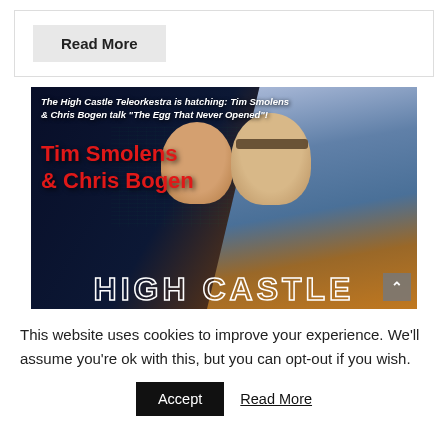Read More
[Figure (photo): Promotional image for The High Castle Teleorkestra featuring Tim Smolens and Chris Bogen. Text overlay reads: 'The High Castle Teleorkestra is hatching: Tim Smolens & Chris Bogen talk "The Egg That Never Opened"!' with large red text 'Tim Smolens & Chris Bogen' and 'HIGH CASTLE' at the bottom in outlined letters.]
This website uses cookies to improve your experience. We'll assume you're ok with this, but you can opt-out if you wish.
Accept
Read More